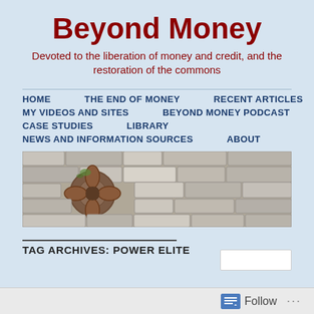Beyond Money
Devoted to the liberation of money and credit, and the restoration of the commons
HOME
THE END OF MONEY
RECENT ARTICLES
MY VIDEOS AND SITES
BEYOND MONEY PODCAST
CASE STUDIES
LIBRARY
NEWS AND INFORMATION SOURCES
ABOUT
[Figure (photo): Decorative stone wall with terracotta pipe ornament]
TAG ARCHIVES: POWER ELITE